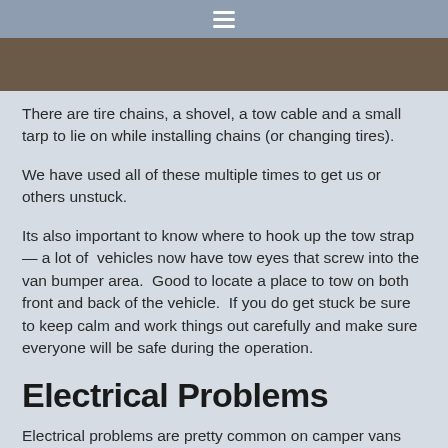≡
[Figure (photo): Partial view of a photo strip showing brown/earthy tones, likely outdoor terrain or a vehicle interior]
There are tire chains, a shovel, a tow cable and a small tarp to lie on while installing chains (or changing tires).
We have used all of these multiple times to get us or others unstuck.
Its also important to know where to hook up the tow strap — a lot of  vehicles now have tow eyes that screw into the van bumper area.  Good to locate a place to tow on both front and back of the vehicle.  If you do get stuck be sure to keep calm and work things out carefully and make sure everyone will be safe during the operation.
Electrical Problems
Electrical problems are pretty common on camper vans given all the electrical stuff we tend to add.